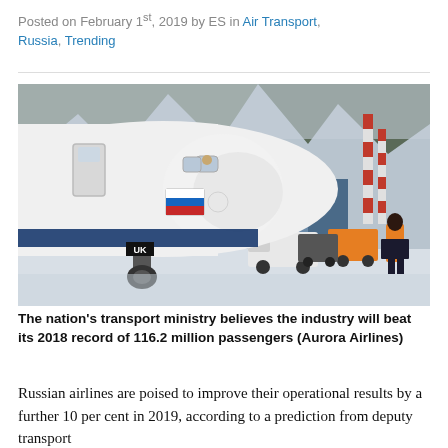Posted on February 1st, 2019 by ES in Air Transport, Russia, Trending
[Figure (photo): Close-up photo of a white Russian passenger aircraft nose with Russian flag livery on the fuselage, parked on a snowy tarmac at an airport. A ground crew worker in an orange high-visibility jacket and black hat stands to the right. White and red striped chimney stacks and airport vehicles including a white van are visible in the background under a grey winter sky.]
The nation’s transport ministry believes the industry will beat its 2018 record of 116.2 million passengers (Aurora Airlines)
Russian airlines are poised to improve their operational results by a further 10 per cent in 2019, according to a prediction from deputy transport